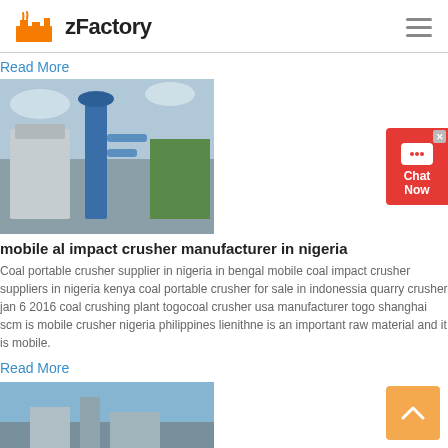zFactory
Read More
[Figure (photo): Industrial mobile impact crusher machine with blue vertical cyclone dust collector tower, metal silos and green trees in background]
mobile al impact crusher manufacturer in nigeria
Coal portable crusher supplier in nigeria in bengal mobile coal impact crusher suppliers in nigeria kenya coal portable crusher for sale in indonessia quarry crusher jan 6 2016 coal crushing plant togocoal crusher usa manufacturer togo shanghai scm is mobile crusher nigeria philippines lienithne is an important raw material and it is mobile.
Read More
[Figure (photo): Industrial facility or crusher plant with blue sky background, partial view at bottom of page]